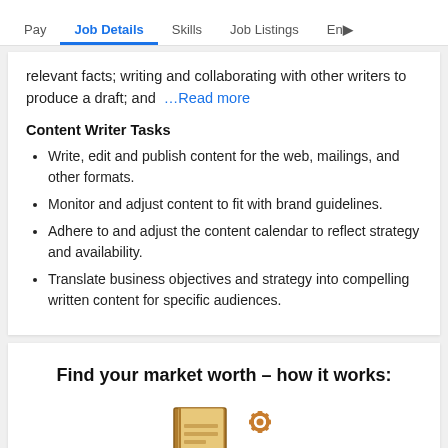Pay | Job Details | Skills | Job Listings | En▶
relevant facts; writing and collaborating with other writers to produce a draft; and  …Read more
Content Writer Tasks
Write, edit and publish content for the web, mailings, and other formats.
Monitor and adjust content to fit with brand guidelines.
Adhere to and adjust the content calendar to reflect strategy and availability.
Translate business objectives and strategy into compelling written content for specific audiences.
Find your market worth – how it works:
[Figure (illustration): Partial illustration showing document/book icon and gear icon at bottom of page]